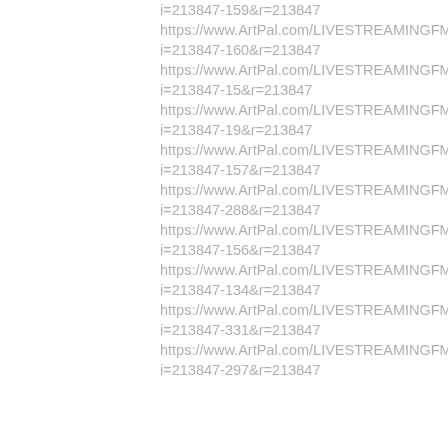i=213847-159&r=213847
https://www.ArtPal.com/LIVESTREAMINGFM?i=213847-160&r=213847
https://www.ArtPal.com/LIVESTREAMINGFM?i=213847-15&r=213847
https://www.ArtPal.com/LIVESTREAMINGFM?i=213847-19&r=213847
https://www.ArtPal.com/LIVESTREAMINGFM?i=213847-157&r=213847
https://www.ArtPal.com/LIVESTREAMINGFM?i=213847-288&r=213847
https://www.ArtPal.com/LIVESTREAMINGFM?i=213847-156&r=213847
https://www.ArtPal.com/LIVESTREAMINGFM?i=213847-134&r=213847
https://www.ArtPal.com/LIVESTREAMINGFM?i=213847-331&r=213847
https://www.ArtPal.com/LIVESTREAMINGFM?i=213847-297&r=213847